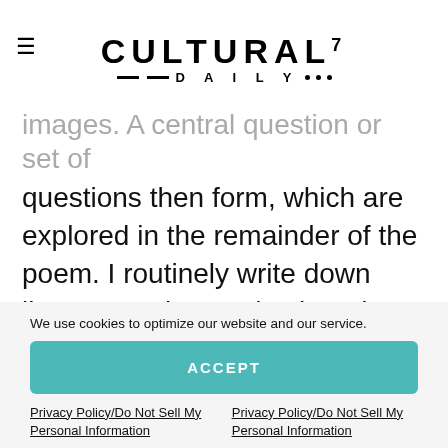CULTURAL7 DAILY
images. A central question or set of questions then form, which are explored in the remainder of the poem. I routinely write down lines, sounds, words, thoughts, images, and quotes that might make their way into poems later. When I'm ready to draft a poem, I flip through those notes and allow something to spark my imagination.
We use cookies to optimize our website and our service.
ACCEPT
Privacy Policy/Do Not Sell My Personal Information
Privacy Policy/Do Not Sell My Personal Information